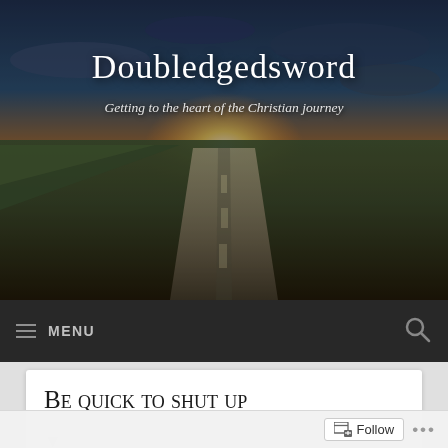[Figure (screenshot): Website banner header with sunset road background image for blog 'Doubledgedsword']
Doubledgedsword
Getting to the heart of the Christian journey
≡  MENU
Be quick to shut up
Lets be honest, some of the best things about being in conflict with those closest to us is letting loose. First we turn our ears off, which
Follow  ...